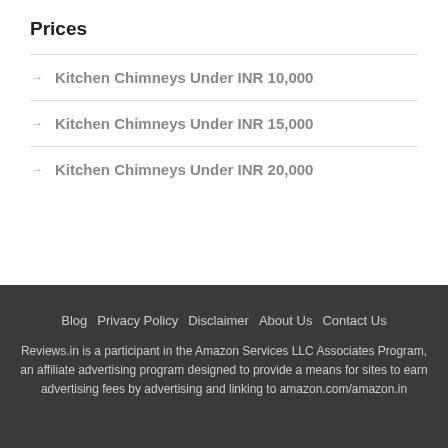Prices
Kitchen Chimneys Under INR 10,000
Kitchen Chimneys Under INR 15,000
Kitchen Chimneys Under INR 20,000
Blog   Privacy Policy   Disclaimer   About Us   Contact Us
Reviews.in is a participant in the Amazon Services LLC Associates Program, an affiliate advertising program designed to provide a means for sites to earn advertising fees by advertising and linking to amazon.com/amazon.in